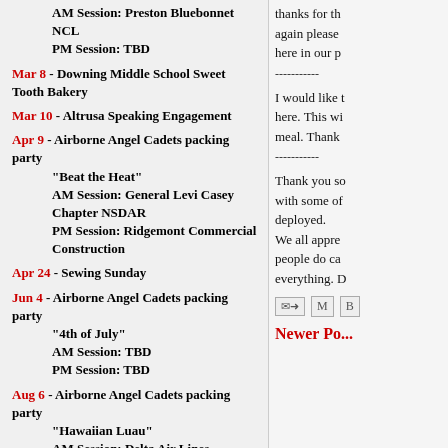AM Session: Preston Bluebonnet NCL
PM Session: TBD
Mar 8 - Downing Middle School Sweet Tooth Bakery
Mar 10 - Altrusa Speaking Engagement
Apr 9 - Airborne Angel Cadets packing party
"Beat the Heat"
AM Session: General Levi Casey Chapter NSDAR
PM Session: Ridgemont Commercial Construction
Apr 24 - Sewing Sunday
Jun 4 - Airborne Angel Cadets packing party
"4th of July"
AM Session: TBD
PM Session: TBD
Aug 6 - Airborne Angel Cadets packing party
"Hawaiian Luau"
AM Session: Delta Air Lines
PM Session: Delta Air Lines
Aug 13 - Airborne Angel Cadets Wine Tasting Fund Raiser
Oct 1 - Airborne Angel Cadets packing party
"Halloween"
AM Session: TBD
thanks for th... again please... here in our p...
-----------
I would like t... here. This wi... meal. Thank
-----------
Thank you so... with some of... deployed. We all appre... people do ca... everything. D...
Newer Po...